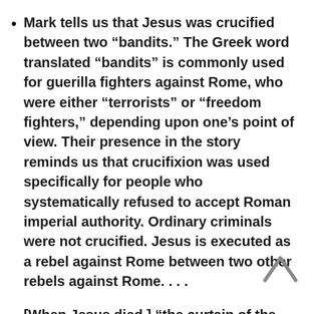Mark tells us that Jesus was crucified between two “bandits.” The Greek word translated “bandits” is commonly used for guerilla fighters against Rome, who were either “terrorists” or “freedom fighters,” depending upon one’s point of view. Their presence in the story reminds us that crucifixion was used specifically for people who systematically refused to accept Roman imperial authority. Ordinary criminals were not crucified. Jesus is executed as a rebel against Rome between two other rebels against Rome. . . .
[When Jesus died,] “the curtain of the temple was torn in two, from top to bottom” (Mark 15:38). As with the darkness from noon to 3 PM